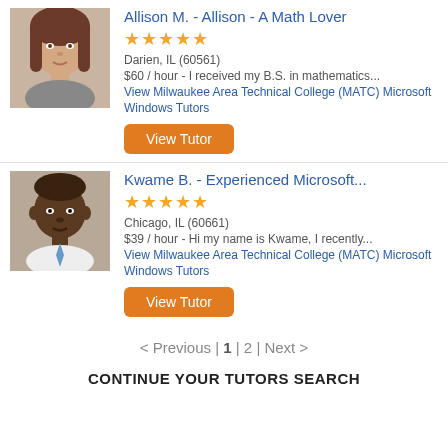[Figure (photo): Photo of Allison M., a young woman with long dark hair]
Allison M. - Allison - A Math Lover
★★★★★
Darien, IL (60561)
$60 / hour - I received my B.S. in mathematics...
View Milwaukee Area Technical College (MATC) Microsoft Windows Tutors
View Tutor
[Figure (photo): Photo of Kwame B., a man in a white shirt and tie]
Kwame B. - Experienced Microsoft...
★★★★★
Chicago, IL (60661)
$39 / hour - Hi my name is Kwame, I recently...
View Milwaukee Area Technical College (MATC) Microsoft Windows Tutors
View Tutor
< Previous | 1 | 2 | Next >
CONTINUE YOUR TUTORS SEARCH